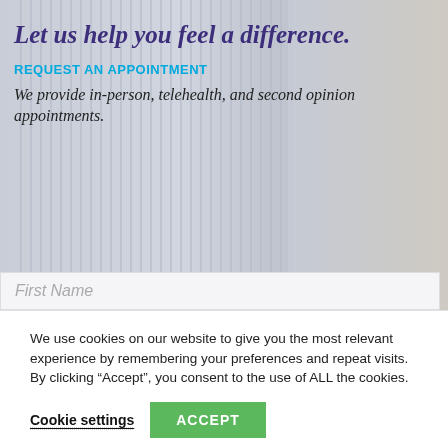[Figure (screenshot): Hero banner with background showing window blinds and bookshelf, overlay text about appointment requests]
Let us help you feel a difference.
REQUEST AN APPOINTMENT
We provide in-person, telehealth, and second opinion appointments.
First Name
We use cookies on our website to give you the most relevant experience by remembering your preferences and repeat visits. By clicking “Accept”, you consent to the use of ALL the cookies.
Cookie settings
ACCEPT